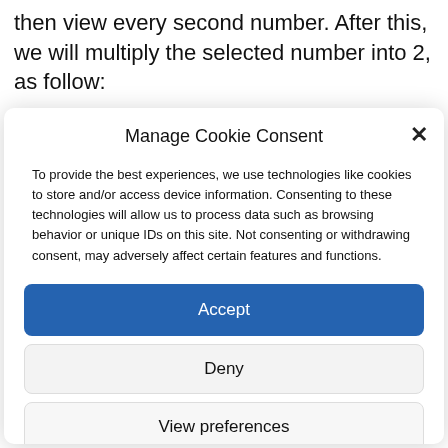then view every second number. After this, we will multiply the selected number into 2, as follow:
Manage Cookie Consent
To provide the best experiences, we use technologies like cookies to store and/or access device information. Consenting to these technologies will allow us to process data such as browsing behavior or unique IDs on this site. Not consenting or withdrawing consent, may adversely affect certain features and functions.
Accept
Deny
View preferences
Cookie Policy